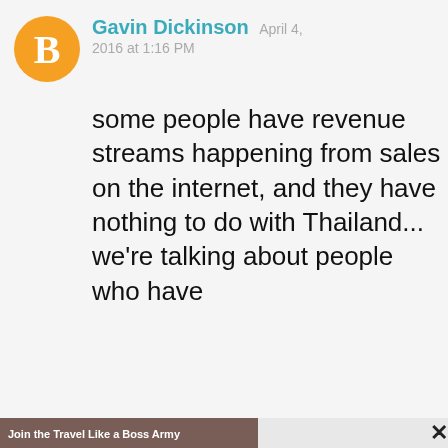[Figure (screenshot): Blogger avatar icon — orange circle with white B letter]
Gavin Dickinson  April 4, 2016 at 1:16 PM
some people have revenue streams happening from sales on the internet, and they have nothing to do with Thailand... we're talking about people who have
[Figure (photo): Popup overlay with image on left showing martial arts fighters jumping with text 'Join the Travel Like a Boss Army' and newsletter signup on right]
Join the Travel Like a Boss Army
Sign up today and get free stuff like 20% off Shopify coupons, my 5 Steps to Success videos and exclusive event invites!As a bonus for signing up you'll also get the "How to Pick the Perfect Niche" bonus episode!
Enter your email address
JOIN TODAY!